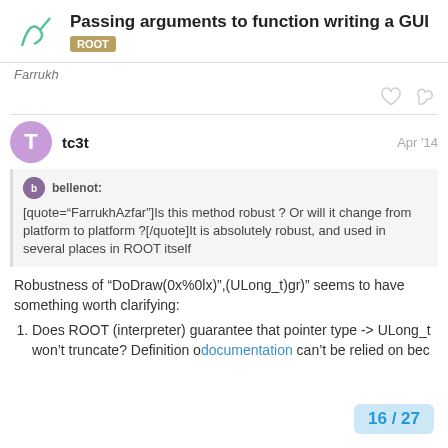Passing arguments to function writing a GUI — ROOT
Farrukh
tc3t — Apr '14
[quote="FarrukhAzfar"]Is this method robust ? Or will it change from platform to platform ?[/quote]It is absolutely robust, and used in several places in ROOT itself
Robustness of "DoDraw(0x%0lx)",(ULong_t)gr)" seems to have something worth clarifying:
Does ROOT (interpreter) guarantee that pointer type -> ULong_t won't truncate? Definition of documentation can't be relied on bec
16 / 27